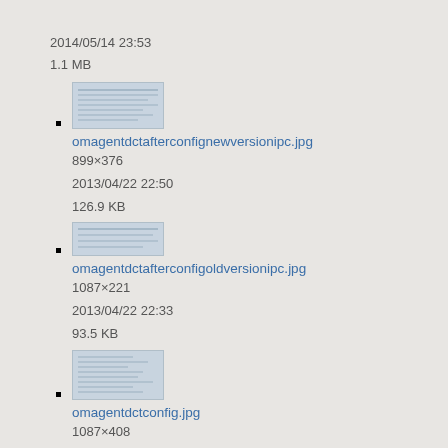2014/05/14 23:53
1.1 MB
omagentdctafterconfignewversionipc.jpg
899×376
2013/04/22 22:50
126.9 KB
omagentdctafterconfigoldversionipc.jpg
1087×221
2013/04/22 22:33
93.5 KB
omagentdctconfig.jpg
1087×408
2013/04/22 22:26
90.6 KB